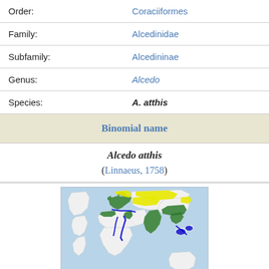| Label | Value |
| --- | --- |
| Order: | Coraciiformes |
| Family: | Alcedinidae |
| Subfamily: | Alcedininae |
| Genus: | Alcedo |
| Species: | A. atthis |
| Binomial name |  |
|  | Alcedo atthis (Linnaeus, 1758) |
[Figure (map): World map showing the range of Alcedo atthis (common kingfisher). Green areas indicate resident range across Europe, Middle East, and Asia. Yellow areas indicate seasonal/migratory range. Blue areas indicate migratory routes, particularly along coasts and river systems.]